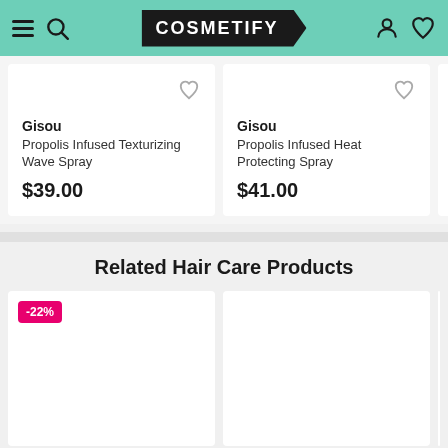[Figure (screenshot): Cosmetify e-commerce website header with teal/mint background, hamburger menu, search icon, Cosmetify logo in black angled box, user account and wishlist icons]
Gisou
Propolis Infused Texturizing Wave Spray
$39.00
Gisou
Propolis Infused Heat Protecting Spray
$41.00
Related Hair Care Products
-22%